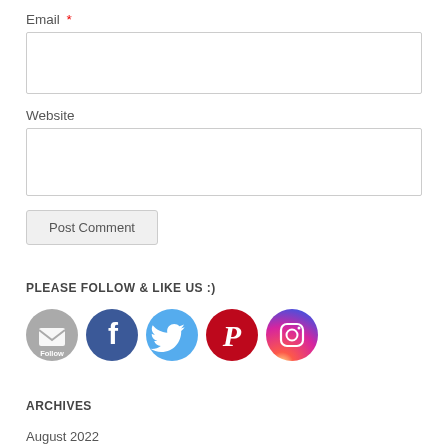Email *
Website
Post Comment
PLEASE FOLLOW & LIKE US :)
[Figure (illustration): Row of social media icons: Follow (email/RSS), Facebook, Twitter, Pinterest, Instagram]
ARCHIVES
August 2022